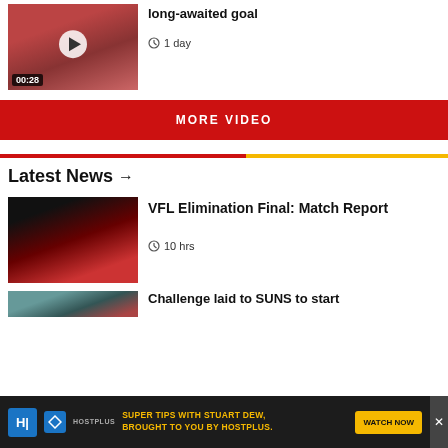[Figure (photo): Video thumbnail showing Australian rules football players in red and gold uniforms with a play button overlay and 00:28 timer badge]
long-awaited goal
1 day
MORE VIDEO
Latest News →
[Figure (photo): News thumbnail showing Gold Coast Suns players celebrating in red and gold uniforms on a dark stadium background for VFL Elimination Final]
VFL Elimination Final: Match Report
10 hrs
[Figure (photo): Partial news thumbnail for Challenge laid to SUNS article]
Challenge laid to SUNS to start
[Figure (photo): Hostplus advertisement banner: Super tips with Stuart Dew, brought to you by Hostplus. Watch Now button.]